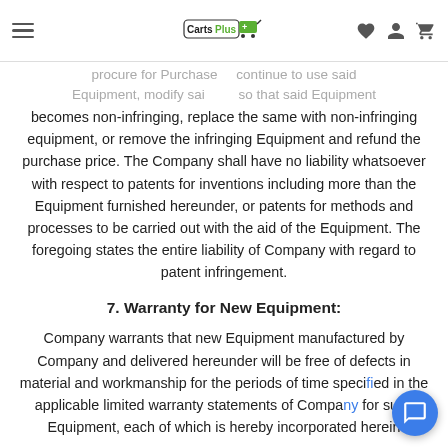CartsPlus navigation header
procure for Purchase ... continue to use said Equipment, modify sai... so that said Equipment becomes non-infringing, replace the same with non-infringing equipment, or remove the infringing Equipment and refund the purchase price. The Company shall have no liability whatsoever with respect to patents for inventions including more than the Equipment furnished hereunder, or patents for methods and processes to be carried out with the aid of the Equipment. The foregoing states the entire liability of Company with regard to patent infringement.
7. Warranty for New Equipment:
Company warrants that new Equipment manufactured by Company and delivered hereunder will be free of defects in material and workmanship for the periods of time specified in the applicable limited warranty statements of Company for such Equipment, each of which is hereby incorporated herein